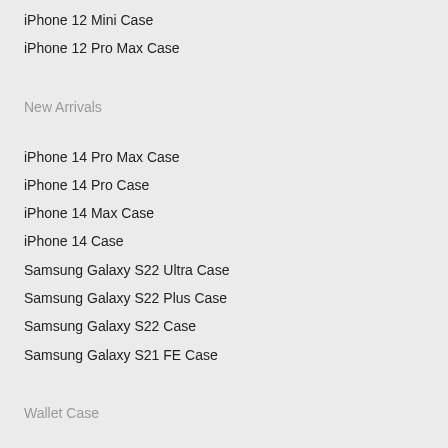iPhone 12 Mini Case
iPhone 12 Pro Max Case
New Arrivals
iPhone 14 Pro Max Case
iPhone 14 Pro Case
iPhone 14 Max Case
iPhone 14 Case
Samsung Galaxy S22 Ultra Case
Samsung Galaxy S22 Plus Case
Samsung Galaxy S22 Case
Samsung Galaxy S21 FE Case
Wallet Case
Samsung Galaxy Note 20 Ultra Case